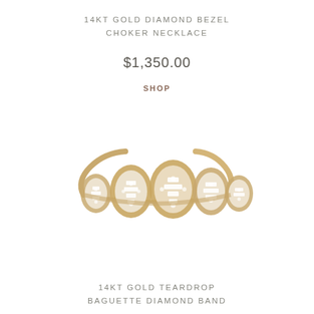14KT GOLD DIAMOND BEZEL CHOKER NECKLACE
$1,350.00
SHOP
[Figure (photo): A gold diamond teardrop baguette band ring photographed on a white background. The ring features multiple teardrop-shaped clusters of baguette and round diamonds set in 14kt yellow gold.]
14KT GOLD TEARDROP BAGUETTE DIAMOND BAND